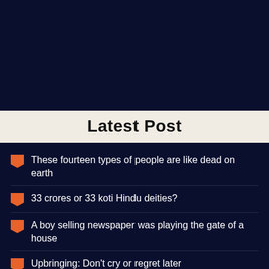[Figure (other): Dark navy blue banner/header image area]
Latest Post
These fourteen types of people are like dead on earth
33 crores or 33 koti Hindu deities?
A boy selling newspaper was playing the gate of a house
Upbringing: Don't cry or regret later
True Story of Beggar: Punishment for the deeds done by us